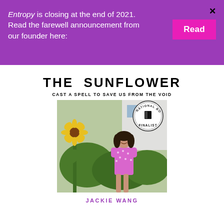Entropy is closing at the end of 2021. Read the farewell announcement from our founder here:
[Figure (illustration): Book cover illustration: The Sunflower Cast a Spell to Save Us from the Void by Jackie Wang. Shows a young woman in a pink floral dress standing next to a sunflower plant amid green shrubs near a white building. National Book Award Finalist badge in upper right corner.]
THE SUNFLOWER
CAST A SPELL TO SAVE US FROM THE VOID
JACKIE WANG